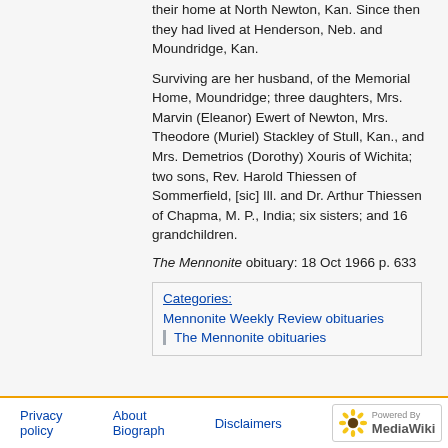their home at North Newton, Kan. Since then they had lived at Henderson, Neb. and Moundridge, Kan.
Surviving are her husband, of the Memorial Home, Moundridge; three daughters, Mrs. Marvin (Eleanor) Ewert of Newton, Mrs. Theodore (Muriel) Stackley of Stull, Kan., and Mrs. Demetrios (Dorothy) Xouris of Wichita; two sons, Rev. Harold Thiessen of Sommerfield, [sic] Ill. and Dr. Arthur Thiessen of Chapma, M. P., India; six sisters; and 16 grandchildren.
The Mennonite obituary: 18 Oct 1966 p. 633
Categories: Mennonite Weekly Review obituaries | The Mennonite obituaries
Privacy policy   About Biograph   Disclaimers   Powered By MediaWiki